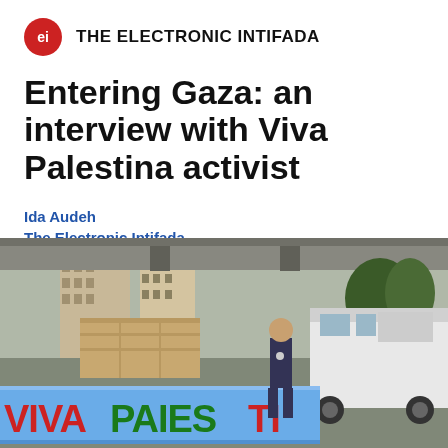THE ELECTRONIC INTIFADA
Entering Gaza: an interview with Viva Palestina activist
Ida Audeh
The Electronic Intifada
23 August 2009
[Figure (photo): A man stands in front of a blue banner reading 'VIVAPALESTINAU' (Viva Palestina USA), with trucks and urban buildings in the background, likely in Cairo, Egypt during the Viva Palestina convoy.]